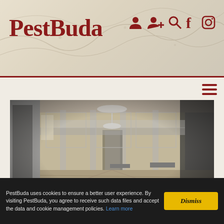PestBuda
[Figure (photo): Black and white photograph of a large ornate ceremonial hall with chandeliers, decorated walls, wooden parquet floor, and curtained doorways in Buda Castle, Országház Street]
The Hidden Treasure of Országház Street - A ceremonial hall with an adventurous story
Walking in the Buda Castle, between the one- and two-storey houses of the narrow Országház Street, we would not even think that one of them hides a
PestBuda uses cookies to ensure a better user experience. By visiting PestBuda, you agree to receive such data files and accept the data and cookie management policies. Learn more